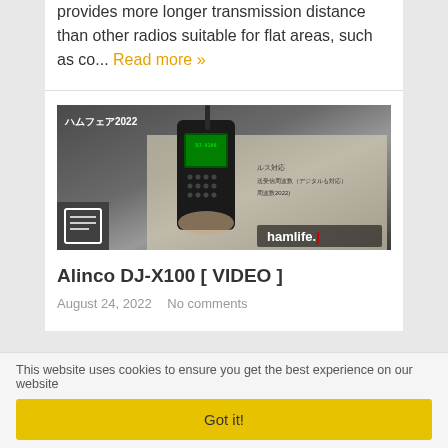provides more longer transmission distance than other radios suitable for flat areas, such as co... Read more »
[Figure (photo): Photo of an Alinco DJ-X100 handheld radio being held at what appears to be a Japanese ham radio exhibition (ハムフェア2022). The radio has a digital display with green screen. A hamlife.jp watermark appears in the bottom right. A small newspaper/article icon appears in the bottom-left corner overlay.]
Alinco DJ-X100 [ VIDEO ]
August 24, 2022   No comments
This website uses cookies to ensure you get the best experience on our website
Got it!